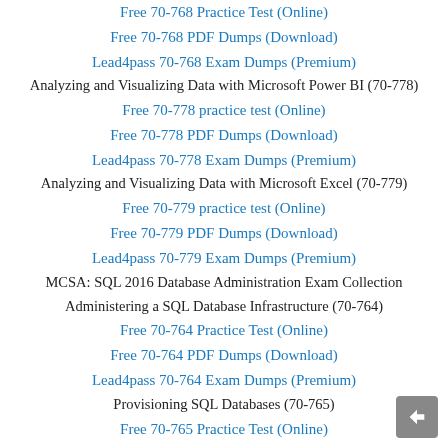Free 70-768 Practice Test (Online)
Free 70-768 PDF Dumps (Download)
Lead4pass 70-768 Exam Dumps (Premium)
Analyzing and Visualizing Data with Microsoft Power BI (70-778)
Free 70-778 practice test (Online)
Free 70-778 PDF Dumps (Download)
Lead4pass 70-778 Exam Dumps (Premium)
Analyzing and Visualizing Data with Microsoft Excel (70-779)
Free 70-779 practice test (Online)
Free 70-779 PDF Dumps (Download)
Lead4pass 70-779 Exam Dumps (Premium)
MCSA: SQL 2016 Database Administration Exam Collection
Administering a SQL Database Infrastructure (70-764)
Free 70-764 Practice Test (Online)
Free 70-764 PDF Dumps (Download)
Lead4pass 70-764 Exam Dumps (Premium)
Provisioning SQL Databases (70-765)
Free 70-765 Practice Test (Online)
Free 70-765 PDF Dumps (Download)
Lead4pass 70-765 Exam Dumps (Premium)
MCSA: SQL 2016 Database Development Exam Collection
Querying Data with Transact-SQL (70-761)